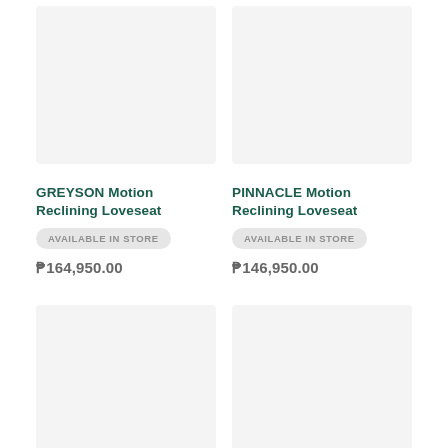[Figure (photo): Product image placeholder for GREYSON Motion Reclining Loveseat - light grey background]
[Figure (photo): Product image placeholder for PINNACLE Motion Reclining Loveseat - light grey background]
GREYSON Motion Reclining Loveseat
PINNACLE Motion Reclining Loveseat
AVAILABLE IN STORE
AVAILABLE IN STORE
₱164,950.00
₱146,950.00
[Figure (photo): Product image placeholder bottom left - light grey background]
[Figure (photo): Product image placeholder bottom right - light grey background]